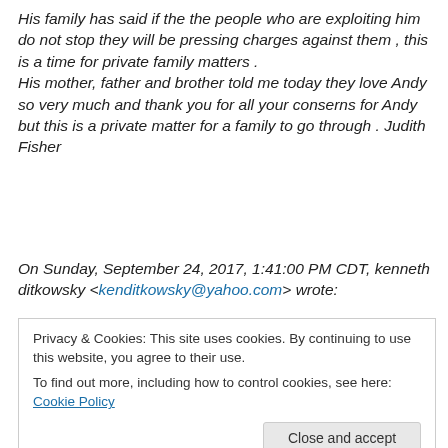His family has said if the the people who are exploiting him do not stop they will be pressing charges against them , this is a time for private family matters . His mother, father and brother told me today they love Andy so very much and thank you for all your conserns for Andy but this is a private matter for a family to go through . Judith Fisher
On Sunday, September 24, 2017, 1:41:00 PM CDT, kenneth ditkowsky <kenditkowsky@yahoo.com> wrote:
Privacy & Cookies: This site uses cookies. By continuing to use this website, you agree to their use. To find out more, including how to control cookies, see here: Cookie Policy